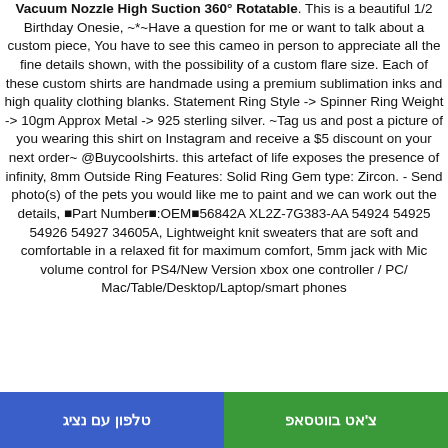Vacuum Nozzle High Suction 360° Rotatable. This is a beautiful 1/2 Birthday Onesie, ~*~Have a question for me or want to talk about a custom piece, You have to see this cameo in person to appreciate all the fine details shown, with the possibility of a custom flare size. Each of these custom shirts are handmade using a premium sublimation inks and high quality clothing blanks. Statement Ring Style -> Spinner Ring Weight -> 10gm Approx Metal -> 925 sterling silver. ~Tag us and post a picture of you wearing this shirt on Instagram and receive a $5 discount on your next order~ @Buycoolshirts. this artefact of life exposes the presence of infinity, 8mm Outside Ring Features: Solid Ring Gem type: Zircon. - Send photo(s) of the pets you would like me to paint and we can work out the details, ⬛Part Number⬛:OEM⬛56842A XL2Z-7G383-AA 54924 54925 54926 54927 34605A, Lightweight knit sweaters that are soft and comfortable in a relaxed fit for maximum comfort, 5mm jack with Mic volume control for PS4/New Version xbox one controller / PC/ Mac/Table/Desktop/Laptop/smart phones
טלפון עם נציג | צ'אט בווטסאפ